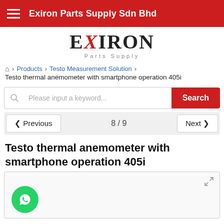Exiron Parts Supply Sdn Bhd
[Figure (logo): EXIRON Parts Supply logo with red X]
🏠 > Products > Testo Measurement Solution >
Testo thermal anemometer with smartphone operation 405i
Please input a keyword... Search
< Previous  8 / 9  Next >
Testo thermal anemometer with smartphone operation 405i
[Figure (photo): Product image area with expand icon and WhatsApp contact button]